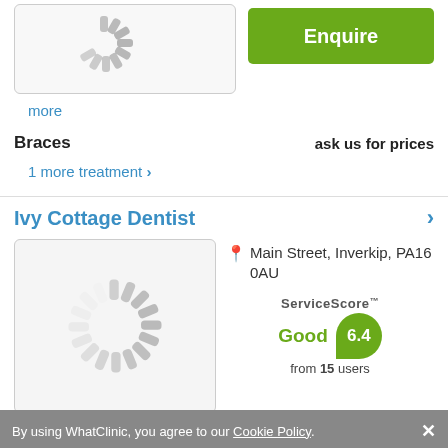[Figure (illustration): Loading spinner / placeholder image at top of page]
[Figure (illustration): Green Enquire button]
more
Braces   ask us for prices
1 more treatment >
Ivy Cottage Dentist
[Figure (illustration): Loading spinner / placeholder image for Ivy Cottage Dentist]
Main Street, Inverkip, PA16 0AU
ServiceScore™ Good 6.4 from 15 users
By using WhatClinic, you agree to our Cookie Policy. ×